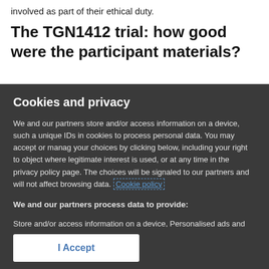involved as part of their ethical duty.
The TGN1412 trial: how good were the participant materials?
Cookies and privacy
We and our partners store and/or access information on a device, such as unique IDs in cookies to process personal data. You may accept or manage your choices by clicking below, including your right to object where legitimate interest is used, or at any time in the privacy policy page. These choices will be signaled to our partners and will not affect browsing data. Cookie policy
We and our partners process data to provide:
Store and/or access information on a device, Personalised ads and content, ad and content measurement, audience insights and product development, Use precise geolocation data, Actively scan device characteristics for identification
List of Partners (vendors)
I Accept